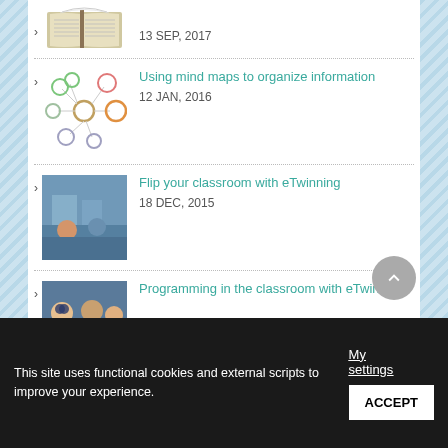[Figure (photo): Open book image with date 13 SEP, 2017]
13 SEP, 2017
[Figure (illustration): Mind map illustration with colored circles]
Using mind maps to organize information
12 JAN, 2016
[Figure (photo): Classroom with students, flip classroom image]
Flip your classroom with eTwinning
18 DEC, 2015
[Figure (photo): Children with glasses, programming in classroom]
Programming in the classroom with eTwinning
This site uses functional cookies and external scripts to improve your experience.
My settings
ACCEPT